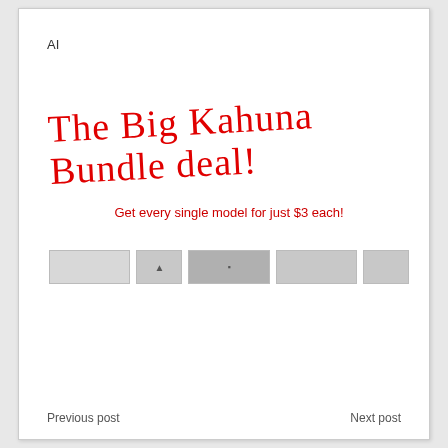AI
The Big Kahuna Bundle deal!
Get every single model for just $3 each!
[Figure (photo): A horizontal strip of small thumbnail images showing various models]
Previous post    Next post